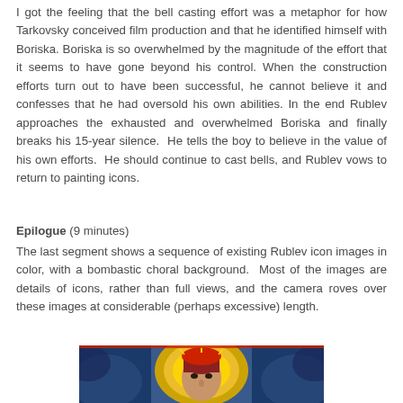I got the feeling that the bell casting effort was a metaphor for how Tarkovsky conceived film production and that he identified himself with Boriska. Boriska is so overwhelmed by the magnitude of the effort that it seems to have gone beyond his control. When the construction efforts turn out to have been successful, he cannot believe it and confesses that he had oversold his own abilities. In the end Rublev approaches the exhausted and overwhelmed Boriska and finally breaks his 15-year silence. He tells the boy to believe in the value of his own efforts. He should continue to cast bells, and Rublev vows to return to painting icons.
Epilogue (9 minutes)
The last segment shows a sequence of existing Rublev icon images in color, with a bombastic choral background. Most of the images are details of icons, rather than full views, and the camera roves over these images at considerable (perhaps excessive) length.
[Figure (illustration): A colorful religious icon image showing a figure (likely Christ or an angel) with a golden halo, red hair/head covering, against a blue background with radiant colors.]